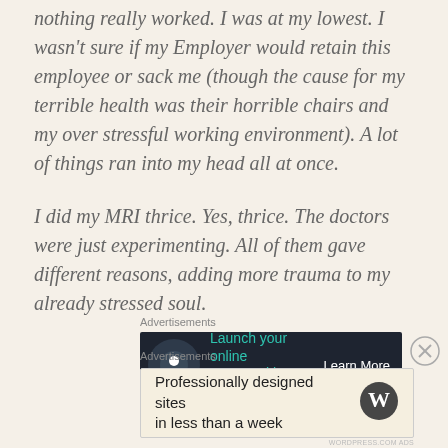nothing really worked. I was at my lowest. I wasn't sure if my Employer would retain this employee or sack me (though the cause for my terrible health was their horrible chairs and my over stressful working environment). A lot of things ran into my head all at once.
I did my MRI thrice. Yes, thrice. The doctors were just experimenting. All of them gave different reasons, adding more trauma to my already stressed soul.
Advertisements
[Figure (screenshot): Dark advertisement banner: Launch your online course with WordPress - Learn More button, with tree/person icon]
Advertisements
[Figure (screenshot): Light advertisement: Professionally designed sites in less than a week - WordPress logo]